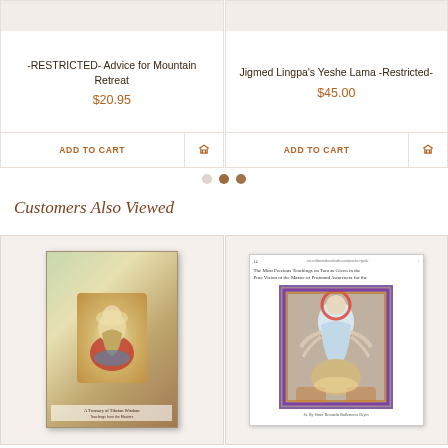[Figure (screenshot): Product card for '-RESTRICTED- Advice for Mountain Retreat' priced at $20.95 with Add to Cart button]
[Figure (screenshot): Product card for 'Jigmed Lingpa's Yeshe Lama -Restricted-' priced at $45.00 with Add to Cart button]
[Figure (other): Three pagination dots indicating carousel position]
Customers Also Viewed
[Figure (photo): Book cover image with Tibetan Buddhist figure/thangka painting illustration and label at bottom]
[Figure (photo): Page preview showing header text and a Tibetan thangka painting of a deity with multiple arms]